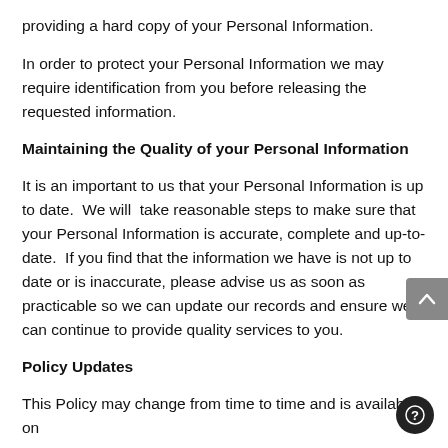providing a hard copy of your Personal Information.
In order to protect your Personal Information we may require identification from you before releasing the requested information.
Maintaining the Quality of your Personal Information
It is an important to us that your Personal Information is up to date.  We will  take reasonable steps to make sure that your Personal Information is accurate, complete and up-to-date.  If you find that the information we have is not up to date or is inaccurate, please advise us as soon as practicable so we can update our records and ensure we can continue to provide quality services to you.
Policy Updates
This Policy may change from time to time and is available on